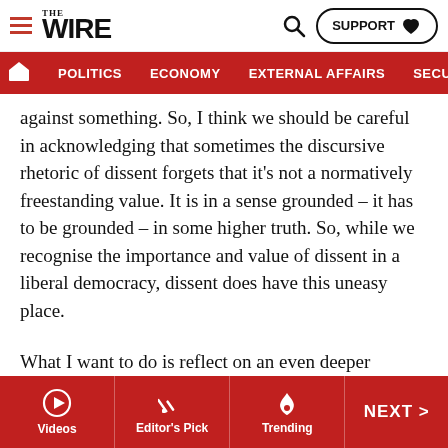The Wire — SUPPORT | navigation: POLITICS, ECONOMY, EXTERNAL AFFAIRS, SECU...
against something. So, I think we should be careful in acknowledging that sometimes the discursive rhetoric of dissent forgets that it's not a normatively freestanding value. It is in a sense grounded – it has to be grounded – in some higher truth. So, while we recognise the importance and value of dissent in a liberal democracy, dissent does have this uneasy place.
What I want to do is reflect on an even deeper paradox. This stuff that I've just outlined is a prolegomena; it's very familiar. And my starting point is an observation in this rather troubling judgment that was passed in the Shaheen Bagh protest case. This was the order that the Supreme
Videos | Editor's Pick | Trending | NEXT >